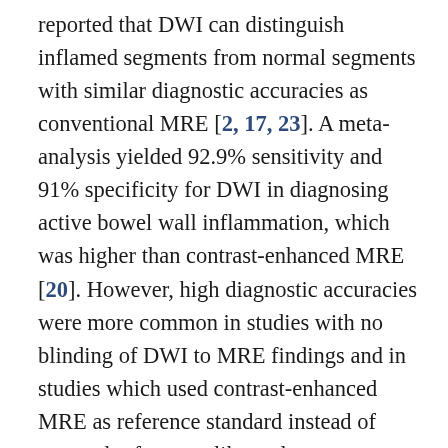reported that DWI can distinguish inflamed segments from normal segments with similar diagnostic accuracies as conventional MRE [2, 17, 23]. A meta-analysis yielded 92.9% sensitivity and 91% specificity for DWI in diagnosing active bowel wall inflammation, which was higher than contrast-enhanced MRE [20]. However, high diagnostic accuracies were more common in studies with no blinding of DWI to MRE findings and in studies which used contrast-enhanced MRE as reference standard instead of external references like endoscopy or histopathology. Because of these and the large heterogeneity between these studies, the apparent high diagnostic accuracies of DWI were likely overestimations [4, 20]. On the other hand, this study showed significant associations between